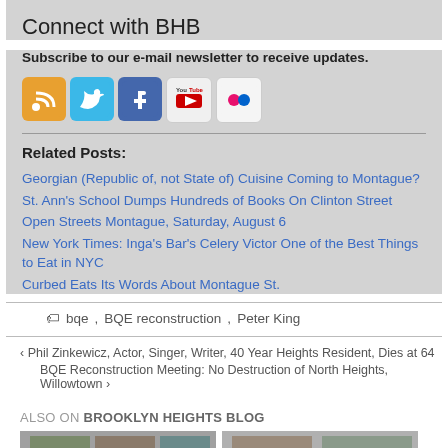Connect with BHB
Subscribe to our e-mail newsletter to receive updates.
[Figure (infographic): Social media icons: RSS (orange), Twitter (blue), Facebook (blue), YouTube (white/red), Flickr (pink)]
Related Posts:
Georgian (Republic of, not State of) Cuisine Coming to Montague?
St. Ann's School Dumps Hundreds of Books On Clinton Street
Open Streets Montague, Saturday, August 6
New York Times: Inga's Bar's Celery Victor One of the Best Things to Eat in NYC
Curbed Eats Its Words About Montague St.
bqe, BQE reconstruction, Peter King
‹ Phil Zinkewicz, Actor, Singer, Writer, 40 Year Heights Resident, Dies at 64
BQE Reconstruction Meeting: No Destruction of North Heights, Willowtown ›
ALSO ON BROOKLYN HEIGHTS BLOG
[Figure (photo): Two thumbnail photos side by side]